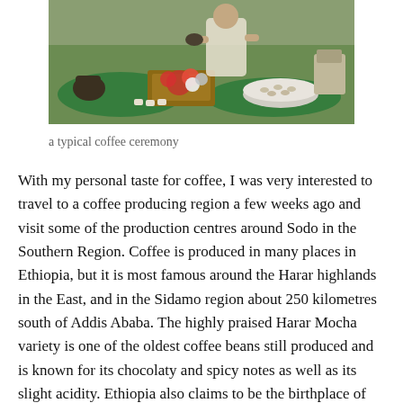[Figure (photo): A typical Ethiopian coffee ceremony setup outdoors on grass, with green woven mats, flowers, coffee cups, a large bowl of coffee beans, and a person in traditional dress]
a typical coffee ceremony
With my personal taste for coffee, I was very interested to travel to a coffee producing region a few weeks ago and visit some of the production centres around Sodo in the Southern Region. Coffee is produced in many places in Ethiopia, but it is most famous around the Harar highlands in the East, and in the Sidamo region about 250 kilometres south of Addis Ababa. The highly praised Harar Mocha variety is one of the oldest coffee beans still produced and is known for its chocolaty and spicy notes as well as its slight acidity. Ethiopia also claims to be the birthplace of